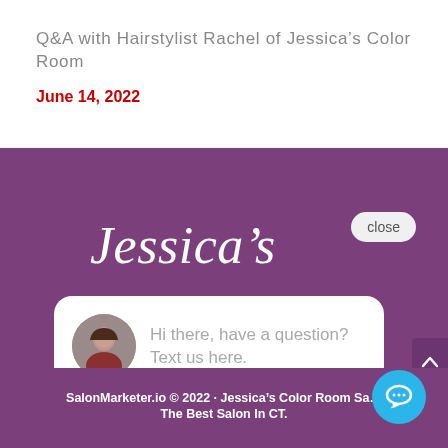Q&A with Hairstylist Rachel of Jessica’s Color Room
June 14, 2022
[Figure (screenshot): Screenshot of Jessica’s Color Room salon website showing a purple background with the script logo 'Jessica’s', a chat widget popup with an avatar photo and the text 'Hi there, have a question? Text us here.', a close button, and a blue chat icon button in the bottom right.]
SalonMarketer.io © 2022 · Jessica’s Color Room Sa… The Best Salon In CT.